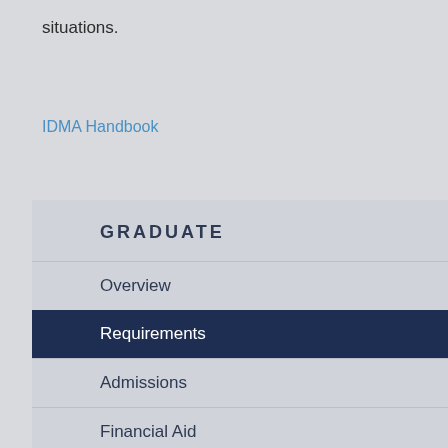situations.
IDMA Handbook
GRADUATE
Overview
Requirements
Admissions
Financial Aid
Courses
Apply
Faculty